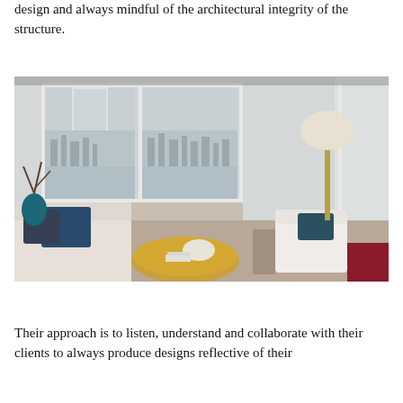design and always mindful of the architectural integrity of the structure.
[Figure (photo): Interior photo of a modern living room with large windows overlooking a park/lake and city skyline. The room features a light sofa, a round gold coffee table, a white modern chair, blue accent cushions, a teal vase with branches, and a floor lamp. Natural light floods the space.]
Their approach is to listen, understand and collaborate with their clients to always produce designs reflective of their